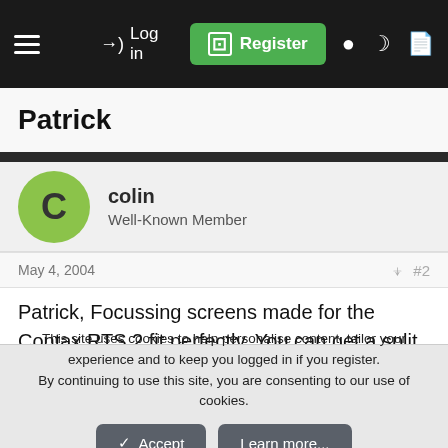Log in | Register
Patrick
colin
Well-Known Member
May 4, 2004  #2
Patrick, Focussing screens made for the Contax RTS 2 fit perfectly. You can get a split image screen.I have one in my Viso 11
This site uses cookies to help personalise content, tailor your experience and to keep you logged in if you register.
By continuing to use this site, you are consenting to our use of cookies.
Accept  Learn more...